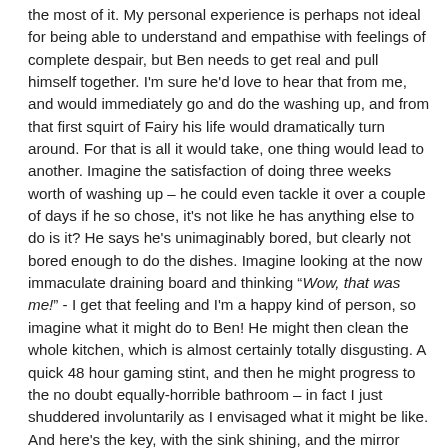the most of it. My personal experience is perhaps not ideal for being able to understand and empathise with feelings of complete despair, but Ben needs to get real and pull himself together. I'm sure he'd love to hear that from me, and would immediately go and do the washing up, and from that first squirt of Fairy his life would dramatically turn around. For that is all it would take, one thing would lead to another. Imagine the satisfaction of doing three weeks worth of washing up – he could even tackle it over a couple of days if he so chose, it's not like he has anything else to do is it? He says he's unimaginably bored, but clearly not bored enough to do the dishes. Imagine looking at the now immaculate draining board and thinking "Wow, that was me!" - I get that feeling and I'm a happy kind of person, so imagine what it might do to Ben! He might then clean the whole kitchen, which is almost certainly totally disgusting. A quick 48 hour gaming stint, and then he might progress to the no doubt equally-horrible bathroom – in fact I just shuddered involuntarily as I envisaged what it might be like. And here's the key, with the sink shining, and the mirror clean, would he shave off that scabby beard? A beard which shouts "loser". A beard which totally precludes employment of any kind. A